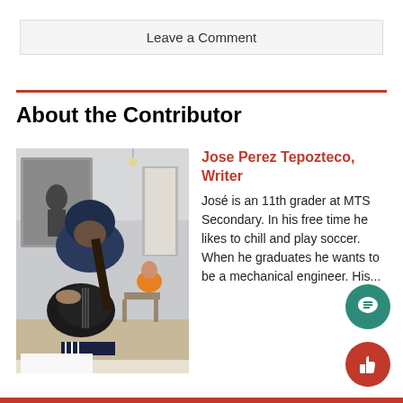Leave a Comment
About the Contributor
[Figure (photo): Person in blue hoodie playing a black acoustic guitar in a classroom setting]
Jose Perez Tepozteco, Writer
José is an 11th grader at MTS Secondary. In his free time he likes to chill and play soccer. When he graduates he wants to be a mechanical engineer. His...